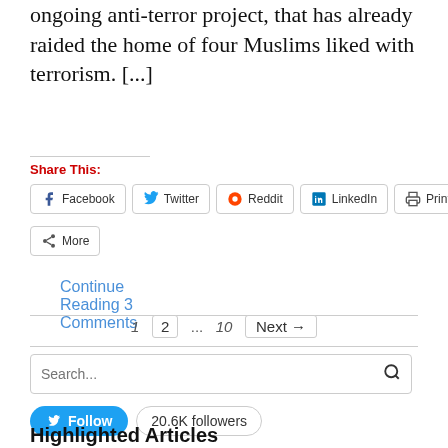ongoing anti-terror project, that has already raided the home of four Muslims liked with terrorism. [...]
Share This:
Facebook
Twitter
Reddit
LinkedIn
Print
More
Continue Reading 3 Comments
1  2  ...  10  Next →
Search...
Follow  20.6K followers
Highlighted Articles